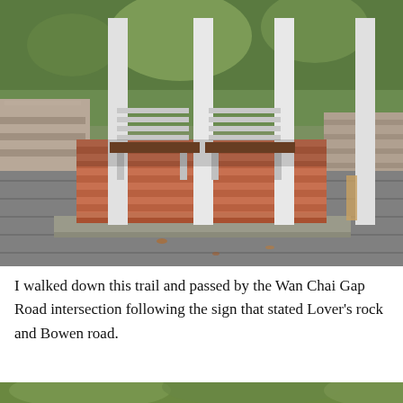[Figure (photo): Outdoor photo of a gazebo or pergola structure with white pillars and wooden benches, set on a brick-paved platform. Stone retaining walls and lush green trees are visible in the background. The scene appears to be along a trail in Hong Kong.]
I walked down this trail and passed by the Wan Chai Gap Road intersection following the sign that stated Lover's rock and Bowen road.
[Figure (photo): Partial view of another outdoor photo showing trees and greenery, cut off at the bottom of the page.]